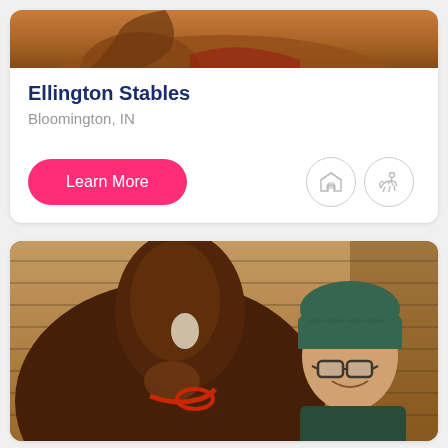[Figure (photo): Top portion of a horse visible at the top of a listing card, warm brown tones]
Ellington Stables
Bloomington, IN
Learn More
[Figure (illustration): Two circular icon buttons — one with a barn/building icon, one with a horse-riding icon]
[Figure (photo): A person wearing glasses and a dark beanie hat smiling next to a chestnut horse with a white blaze, inside a wooden barn stall]